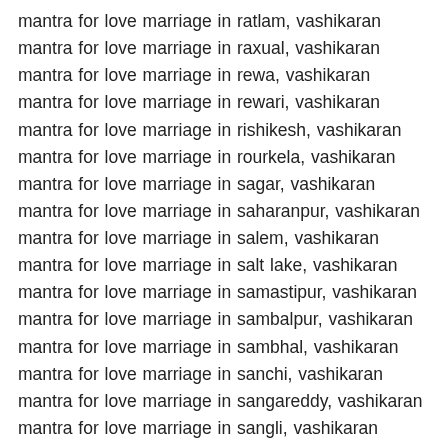mantra for love marriage in ratlam, vashikaran mantra for love marriage in raxual, vashikaran mantra for love marriage in rewa, vashikaran mantra for love marriage in rewari, vashikaran mantra for love marriage in rishikesh, vashikaran mantra for love marriage in rourkela, vashikaran mantra for love marriage in sagar, vashikaran mantra for love marriage in saharanpur, vashikaran mantra for love marriage in salem, vashikaran mantra for love marriage in salt lake, vashikaran mantra for love marriage in samastipur, vashikaran mantra for love marriage in sambalpur, vashikaran mantra for love marriage in sambhal, vashikaran mantra for love marriage in sanchi, vashikaran mantra for love marriage in sangareddy, vashikaran mantra for love marriage in sangli, vashikaran mantra for love marriage in sangrur, vashikaran mantra for love marriage in sarnath, vashikaran mantra for love marriage in sasaram, vashikaran mantra for love marriage in satara, vashikaran mantra for love marriage in satna, vashikaran mantra for love marriage in secunderabad, vashikaran mantra for love marriage in sehore, vashikaran mantra for love marriage in serampore, vashikaran mantra